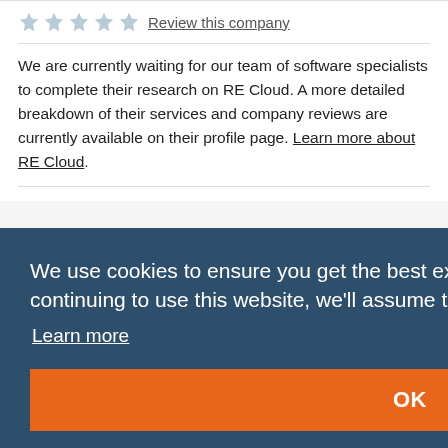[Figure (other): Five empty/outline star icons for rating, followed by a 'Review this company' underlined link]
We are currently waiting for our team of software specialists to complete their research on RE Cloud. A more detailed breakdown of their services and company reviews are currently available on their profile page. Learn more about RE Cloud.
We use cookies to ensure you get the best experience on our website. By continuing to use this website, we'll assume that's OK.
Learn more
OK